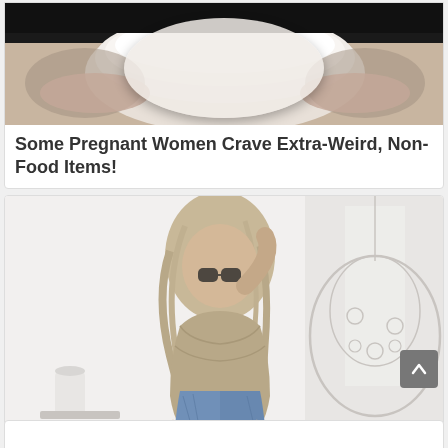[Figure (photo): Photo of a white bowl with whipped cream or dairy product, held in hands, dark background at top]
Some Pregnant Women Crave Extra-Weird, Non-Food Items!
[Figure (photo): Photo of a woman with long blonde hair wearing a brown cropped sweater and denim shorts, posing in a white room with a hanging egg chair]
These Clothes Will Make Your Man Feel Wild Just Looking At You